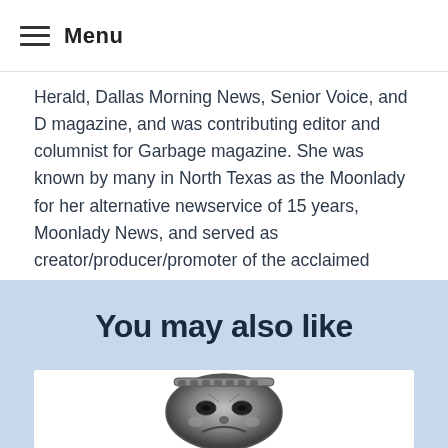Menu
Herald, Dallas Morning News, Senior Voice, and D magazine, and was contributing editor and columnist for Garbage magazine. She was known by many in North Texas as the Moonlady for her alternative newservice of 15 years, Moonlady News, and served as creator/producer/promoter of the acclaimed Winter and Summer SolstiCelebrations for 20 years.
You may also like
JANUARY 20, 2014
[Figure (photo): Black and white photo of a decorative theatrical mask brooch or pin, showing a face with dramatic expression]